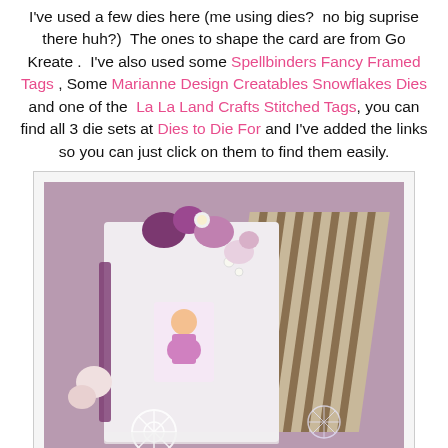I've used a few dies here (me using dies?  no big suprise there huh?)  The ones to shape the card are from Go Kreate .  I've also used some Spellbinders Fancy Framed Tags , Some Marianne Design Creatables Snowflakes Dies and one of the  La La Land Crafts Stitched Tags, you can find all 3 die sets at Dies to Die For and I've added the links so you can just click on them to find them easily.
[Figure (photo): A decorative handmade easel card featuring purple and pink floral embellishments, a stamped image of a child figure, lace snowflake die cuts, pearls, ribbons, and striped patterned paper in brown/cream tones forming the easel back.]